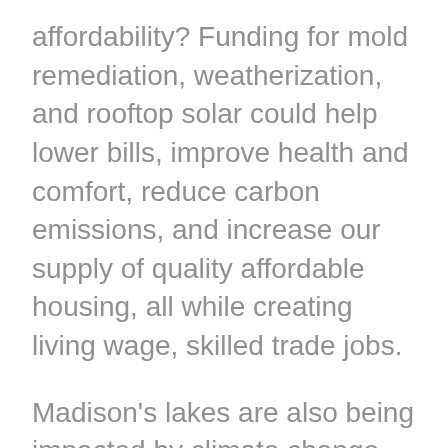affordability? Funding for mold remediation, weatherization, and rooftop solar could help lower bills, improve health and comfort, reduce carbon emissions, and increase our supply of quality affordable housing, all while creating living wage, skilled trade jobs.
Madison's lakes are also being impacted by climate change. Increased runoff from more intense storms combined with warmer temperatures result in increased algae blooms. The degrading water quality impacts lake ecosystems, our health, and the sectors of our economy